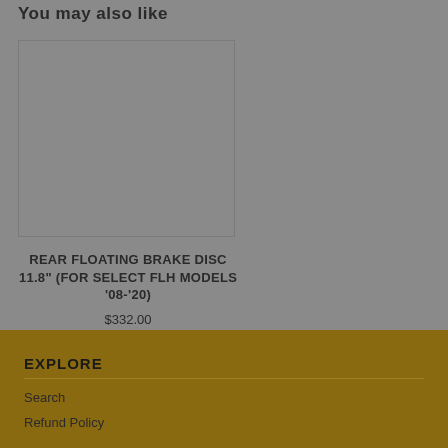You may also like
REAR FLOATING BRAKE DISC 11.8" (FOR SELECT FLH MODELS '08-'20)
$332.00
EXPLORE
Search
Refund Policy